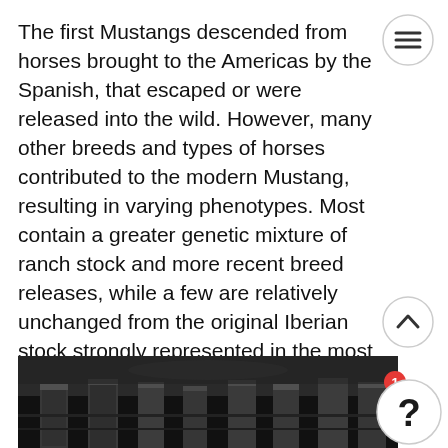The first Mustangs descended from horses brought to the Americas by the Spanish, that escaped or were released into the wild. However, many other breeds and types of horses contributed to the modern Mustang, resulting in varying phenotypes. Most contain a greater genetic mixture of ranch stock and more recent breed releases, while a few are relatively unchanged from the original Iberian stock strongly represented in the most isolated populations.
[Figure (photo): Black and white photograph showing ruins or stone structures, possibly ancient or historical architecture, dimly lit with dark tones.]